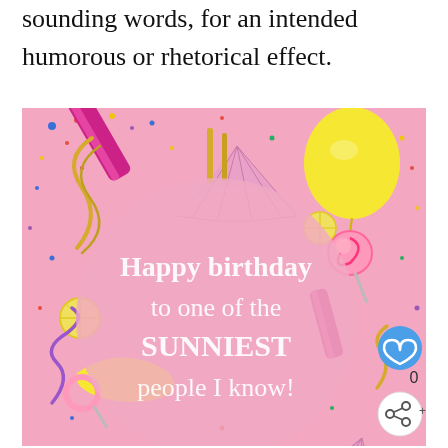sounding words, for an intended humorous or rhetorical effect.
[Figure (photo): A birthday greeting photo with party decorations (balloons, confetti, streamers, lollipops, party horns) on a pink background with a large pink circle overlay containing the text: 'Happy birthday to one of the SUNNIEST people I know!' A blue heart icon and share icon appear in the bottom right corner.]